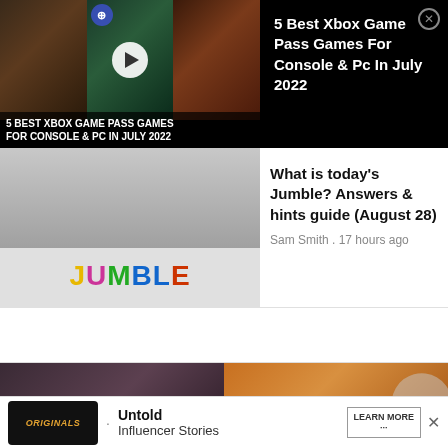[Figure (screenshot): Video thumbnail strip showing three game characters with play button overlay]
5 BEST XBOX GAME PASS GAMES FOR CONSOLE & PC IN JULY 2022
5 Best Xbox Game Pass Games For Console & Pc In July 2022
[Figure (screenshot): Jumble cartoon puzzle image with colorful JUMBLE logo text]
What is today's Jumble? Answers & hints guide (August 28)
Sam Smith . 17 hours ago
[Figure (photo): Woman and spices/seasoning photo]
[Figure (screenshot): Advertisement banner: Originals - Untold Influencer Stories - Learn More]